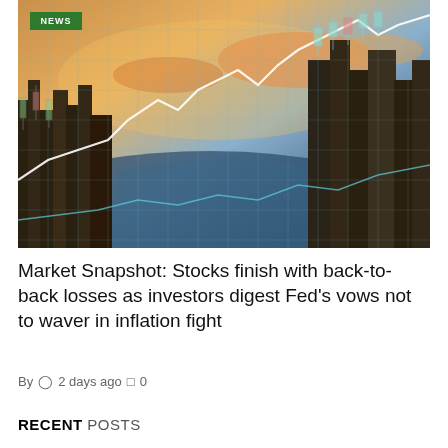[Figure (photo): Financial stock market chart overlay on city skyline with river, sunset sky with orange clouds, candlestick charts and line graphs visible]
Market Snapshot: Stocks finish with back-to-back losses as investors digest Fed's vows not to waver in inflation fight
By  2 days ago  0
RECENT POSTS